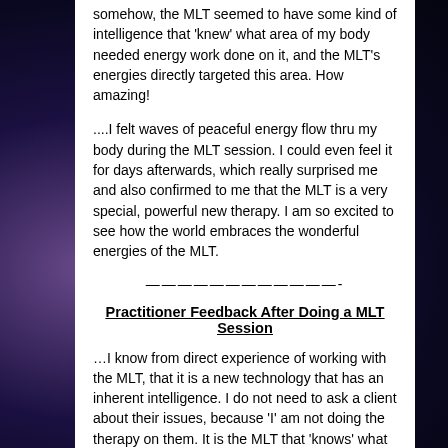somehow, the MLT seemed to have some kind of intelligence that 'knew' what area of my body needed energy work done on it, and the MLT's energies directly targeted this area. How amazing!
....I felt waves of peaceful energy flow thru my body during the MLT session. I could even feel it for days afterwards, which really surprised me and also confirmed to me that the MLT is a very special, powerful new therapy. I am so excited to see how the world embraces the wonderful energies of the MLT.
————————————-
Practitioner Feedback After Doing a MLT Session
…I know from direct experience of working with the MLT, that it is a new technology that has an inherent intelligence. I do not need to ask a client about their issues, because 'I' am not doing the therapy on them. It is the MLT that 'knows' what is bothering a person, and that is the location or topic that the MLT works on. I believe that this new energy transformational device IS the new paradigm of holistic healing for humanity, going into this time of world consciousness